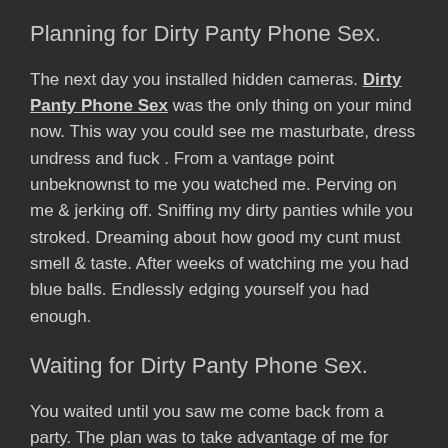Planning for Dirty Panty Phone Sex.
The next day you installed hidden cameras. Dirty Panty Phone Sex was the only thing on your mind now. This way you could see me masturbate, dress undress and fuck . From a vantage point unbeknownst to me you watched me. Perving on me & jerking off. Sniffing my dirty panties while you stroked. Dreaming about how good my cunt must smell & taste. After weeks of watching me you had blue balls. Endlessly edging yourself you had enough.
Waiting for Dirty Panty Phone Sex.
You waited until you saw me come back from a party. The plan was to take advantage of me for Dirty Panty Phone Sex. A girl friend brought me home and I had a little to much to drink. I passed out in bed after she covered me up still in my cloths. Wearing only a short red dress thigh